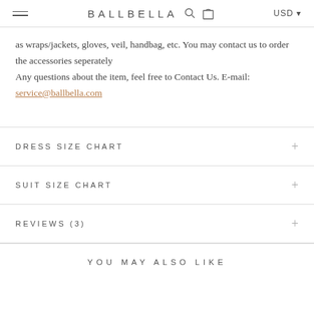BALLBELLA USD
as wraps/jackets, gloves, veil, handbag, etc. You may contact us to order the accessories seperately
Any questions about the item, feel free to Contact Us. E-mail: service@ballbella.com
DRESS SIZE CHART
SUIT SIZE CHART
REVIEWS (3)
YOU MAY ALSO LIKE